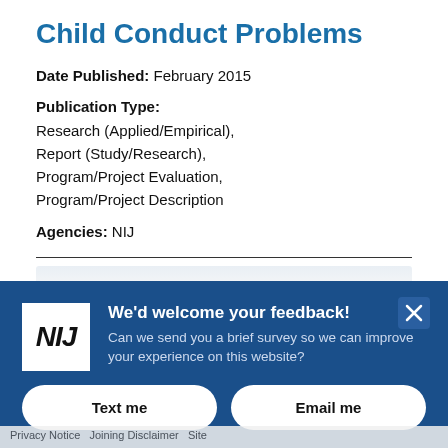Child Conduct Problems
Date Published: February 2015
Publication Type: Research (Applied/Empirical), Report (Study/Research), Program/Project Evaluation, Program/Project Description
Agencies: NIJ
[Figure (screenshot): NIJ feedback modal overlay with NIJ logo, headline 'We'd welcome your feedback!', body text 'Can we send you a brief survey so we can improve your experience on this website?', and two buttons: 'Text me' and 'Email me'.]
Privacy Notice Joining Disclaimer